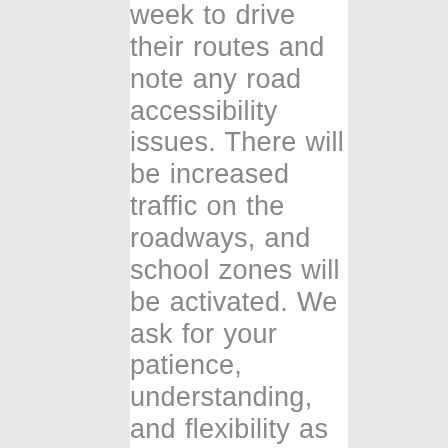week to drive their routes and note any road accessibility issues. There will be increased traffic on the roadways, and school zones will be activated. We ask for your patience, understanding, and flexibility as our buses